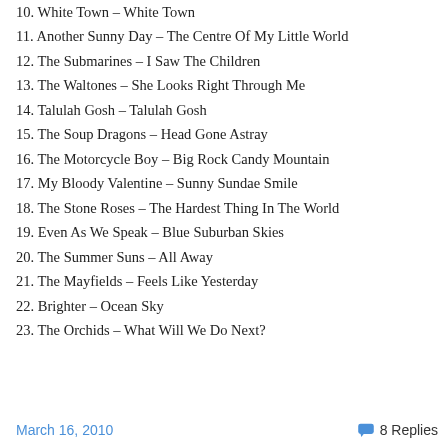10. White Town – White Town
11. Another Sunny Day – The Centre Of My Little World
12. The Submarines – I Saw The Children
13. The Waltones – She Looks Right Through Me
14. Talulah Gosh – Talulah Gosh
15. The Soup Dragons – Head Gone Astray
16. The Motorcycle Boy – Big Rock Candy Mountain
17. My Bloody Valentine – Sunny Sundae Smile
18. The Stone Roses – The Hardest Thing In The World
19. Even As We Speak – Blue Suburban Skies
20. The Summer Suns – All Away
21. The Mayfields – Feels Like Yesterday
22. Brighter – Ocean Sky
23. The Orchids – What Will We Do Next?
March 16, 2010   8 Replies